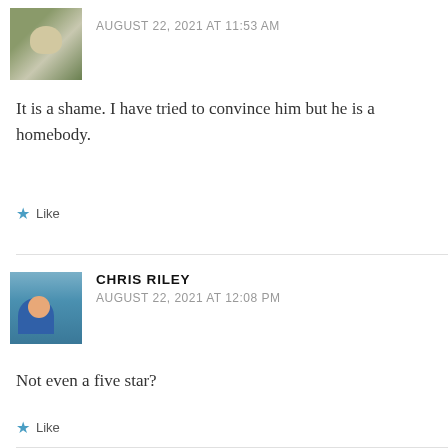[Figure (photo): Avatar photo of commenter 1 - person in striped shirt]
AUGUST 22, 2021 AT 11:53 AM
It is a shame. I have tried to convince him but he is a homebody.
Like
[Figure (photo): Avatar photo of Chris Riley - woman in blue shirt with ocean background]
CHRIS RILEY
AUGUST 22, 2021 AT 12:08 PM
Not even a five star?
Like